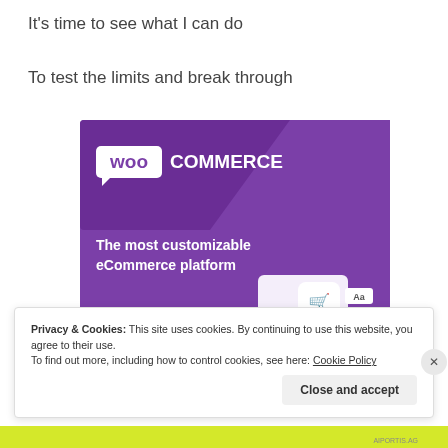It's time to see what I can do
To test the limits and break through
[Figure (screenshot): WooCommerce advertisement banner with purple background showing 'The most customizable eCommerce platform' with a 'Start a new store' button and shopping cart mockup]
Privacy & Cookies: This site uses cookies. By continuing to use this website, you agree to their use.
To find out more, including how to control cookies, see here: Cookie Policy
Close and accept